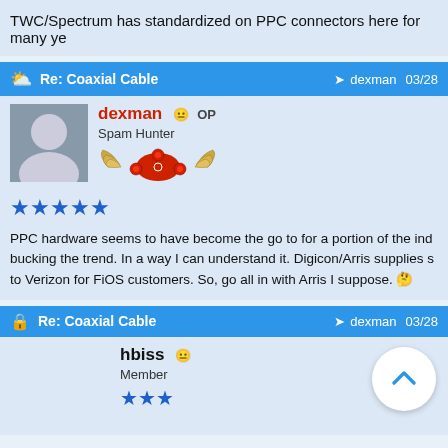TWC/Spectrum has standardized on PPC connectors here for many ye
Re: Coaxial Cable — dexman 03/28
dexman OP
Spam Hunter
★★★★★
PPC hardware seems to have become the go to for a portion of the ind bucking the trend. In a way I can understand it. Digicon/Arris supplies s to Verizon for FiOS customers. So, go all in with Arris I suppose.
Re: Coaxial Cable — dexman 03/28
hbiss
Member
★★★